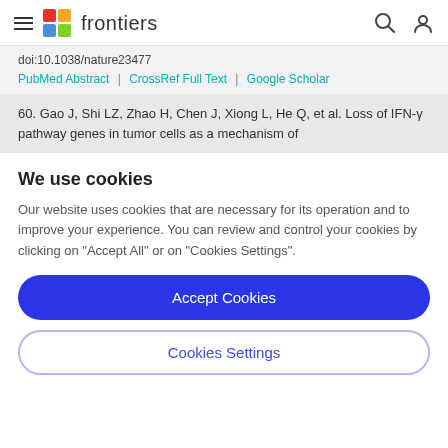frontiers
doi:10.1038/nature23477
PubMed Abstract | CrossRef Full Text | Google Scholar
60. Gao J, Shi LZ, Zhao H, Chen J, Xiong L, He Q, et al. Loss of IFN-γ pathway genes in tumor cells as a mechanism of
We use cookies
Our website uses cookies that are necessary for its operation and to improve your experience. You can review and control your cookies by clicking on "Accept All" or on "Cookies Settings".
Accept Cookies
Cookies Settings